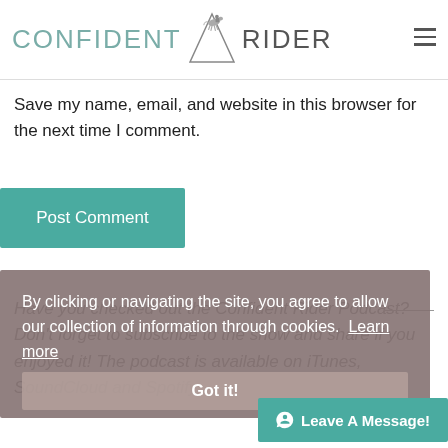[Figure (logo): Confident Rider logo with horse and rider silhouette icon between the words CONFIDENT and RIDER]
Save my name, email, and website in this browser for the next time I comment.
Post Comment
By clicking or navigating the site, you agree to allow our collection of information through cookies. Learn more
Got it!
Have you checked out the Confident Rider Podcast? Don't forget to subscribe to the show and share if you enjoyed it! The podcast is available on iTunes, SoundCloud and Spotify.
Leave A Message!